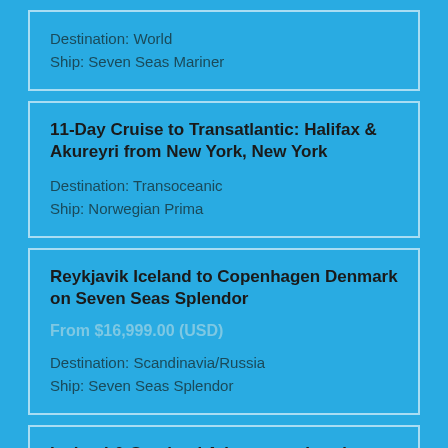Destination: World
Ship: Seven Seas Mariner
11-Day Cruise to Transatlantic: Halifax & Akureyri from New York, New York
Destination: Transoceanic
Ship: Norwegian Prima
Reykjavik Iceland to Copenhagen Denmark on Seven Seas Splendor
From $16,999.00 (USD)
Destination: Scandinavia/Russia
Ship: Seven Seas Splendor
Iceland & Scotland Adventure - London (Southampton) UK to Reykjavik Iceland
From $3,699.00 (USD)